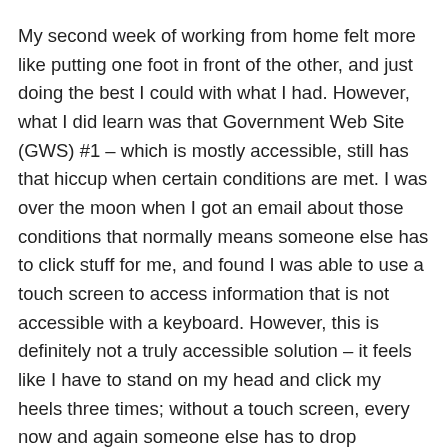My second week of working from home felt more like putting one foot in front of the other, and just doing the best I could with what I had. However, what I did learn was that Government Web Site (GWS) #1 – which is mostly accessible, still has that hiccup when certain conditions are met. I was over the moon when I got an email about those conditions that normally means someone else has to click stuff for me, and found I was able to use a touch screen to access information that is not accessible with a keyboard. However, this is definitely not a truly accessible solution – it feels like I have to stand on my head and click my heels three times; without a touch screen, every now and again someone else has to drop everything to help me out.